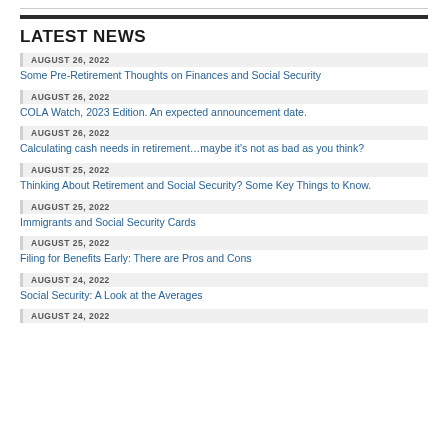LATEST NEWS
AUGUST 26, 2022 — Some Pre-Retirement Thoughts on Finances and Social Security
AUGUST 26, 2022 — COLA Watch, 2023 Edition. An expected announcement date.
AUGUST 26, 2022 — Calculating cash needs in retirement…maybe it's not as bad as you think?
AUGUST 25, 2022 — Thinking About Retirement and Social Security? Some Key Things to Know.
AUGUST 25, 2022 — Immigrants and Social Security Cards
AUGUST 25, 2022 — Filing for Benefits Early: There are Pros and Cons
AUGUST 24, 2022 — Social Security: A Look at the Averages
AUGUST 24, 2022